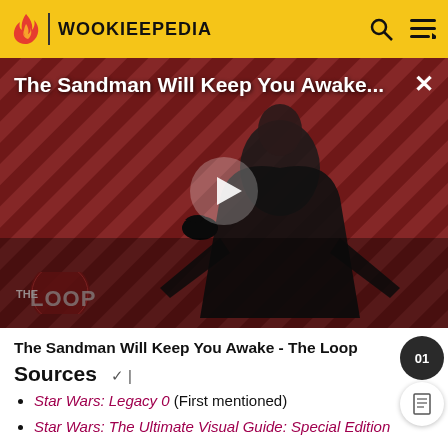WOOKIEEPEDIA
[Figure (screenshot): Video thumbnail for 'The Sandman Will Keep You Awake...' showing a dark-cloaked figure against a red and black diagonal striped background, with a play button in the center and The Loop logo in the bottom left.]
The Sandman Will Keep You Awake - The Loop
Sources
Star Wars: Legacy 0 (First mentioned)
Star Wars: The Ultimate Visual Guide: Special Edition